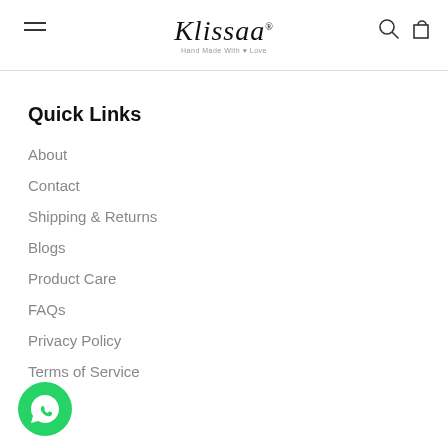Klissaa — Hand Made With Love (logo with hamburger menu, search and cart icons)
Quick Links
About
Contact
Shipping & Returns
Blogs
Product Care
FAQs
Privacy Policy
Terms of Service
[Figure (logo): WhatsApp chat button — green circle with phone handset icon, bottom left corner]